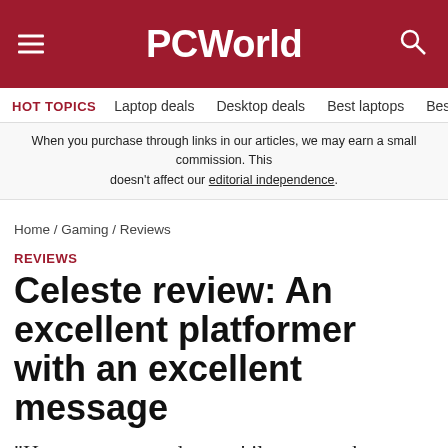PCWorld
HOT TOPICS   Laptop deals   Desktop deals   Best laptops   Best ch
When you purchase through links in our articles, we may earn a small commission. This doesn't affect our editorial independence.
Home / Gaming / Reviews
REVIEWS
Celeste review: An excellent platformer with an excellent message
"Hang on to your dreams 'til someone beats them out of you."